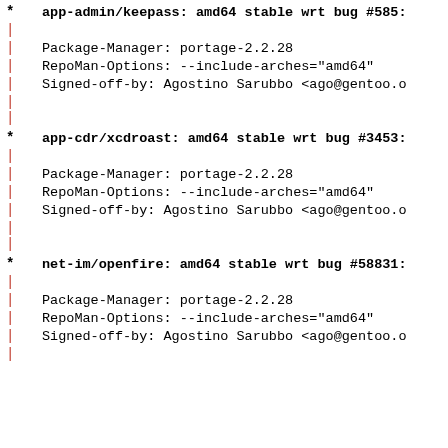* app-admin/keepass: amd64 stable wrt bug #585:
| 
|     Package-Manager: portage-2.2.28
|     RepoMan-Options: --include-arches="amd64"
|     Signed-off-by: Agostino Sarubbo <ago@gentoo.o
|
|
* app-cdr/xcdroast: amd64 stable wrt bug #3453:
| 
|     Package-Manager: portage-2.2.28
|     RepoMan-Options: --include-arches="amd64"
|     Signed-off-by: Agostino Sarubbo <ago@gentoo.o
|
|
* net-im/openfire: amd64 stable wrt bug #58831:
| 
|     Package-Manager: portage-2.2.28
|     RepoMan-Options: --include-arches="amd64"
|     Signed-off-by: Agostino Sarubbo <ago@gentoo.o
|